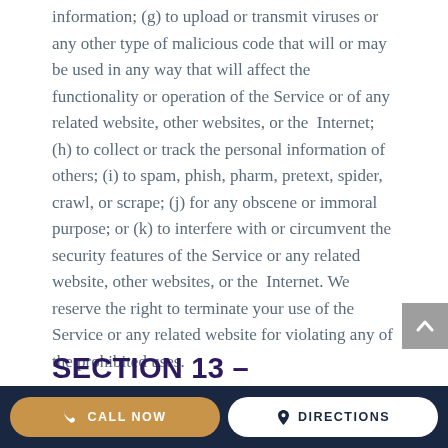information; (g) to upload or transmit viruses or any other type of malicious code that will or may be used in any way that will affect the functionality or operation of the Service or of any related website, other websites, or the Internet; (h) to collect or track the personal information of others; (i) to spam, phish, pharm, pretext, spider, crawl, or scrape; (j) for any obscene or immoral purpose; or (k) to interfere with or circumvent the security features of the Service or any related website, other websites, or the Internet. We reserve the right to terminate your use of the Service or any related website for violating any of the prohibited uses.
SECTION 13 – DISCLAIMER OF WARRANTIES; LIMITATION OF
CALL NOW   DIRECTIONS